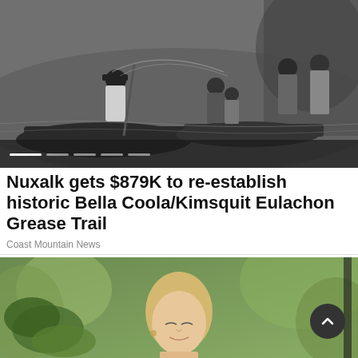[Figure (photo): Black and white historical photo of Indigenous people in boats near a riverbank, fishing with nets]
Nuxalk gets $879K to re-establish historic Bella Coola/Kimsquit Eulachon Grease Trail
Coast Mountain News
[Figure (photo): Color photo of a blonde woman with eyes closed, sitting outdoors in a garden or patio setting with green plants in background]